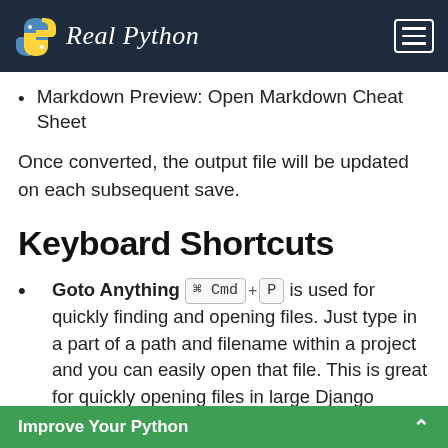Real Python
Markdown Preview: Open Markdown Cheat Sheet
Once converted, the output file will be updated on each subsequent save.
Keyboard Shortcuts
Goto Anything ⌘ Cmd + P is used for quickly finding and opening files. Just type in a part of a path and filename within a project and you can easily open that file. This is great for quickly opening files in large Django projects.
Goto Line Number ^ Ctrl + G takes you to a
Improve Your Python